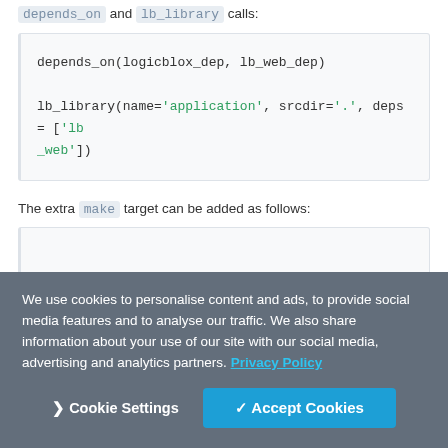depends_on and lb_library calls:
depends_on(logicblox_dep, lb_web_dep)

lb_library(name='application', srcdir='.', deps = ['lb_web'])
The extra make target can be added as follows:
We use cookies to personalise content and ads, to provide social media features and to analyse our traffic. We also share information about your use of our site with our social media, advertising and analytics partners. Privacy Policy
Cookie Settings  ✓ Accept Cookies